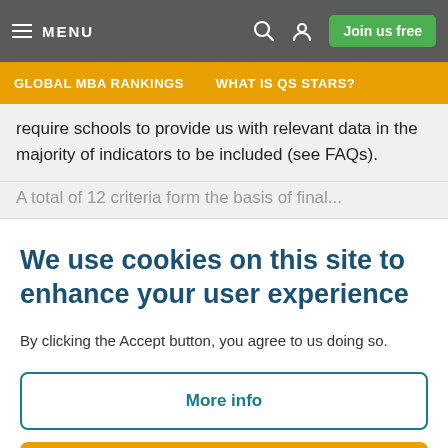MENU | Join us free
GLOBAL MBA RANKINGS | WHAT IS QS STARS?
require schools to provide us with relevant data in the majority of indicators to be included (see FAQs).
We use cookies on this site to enhance your user experience
By clicking the Accept button, you agree to us doing so.
More info
Accept